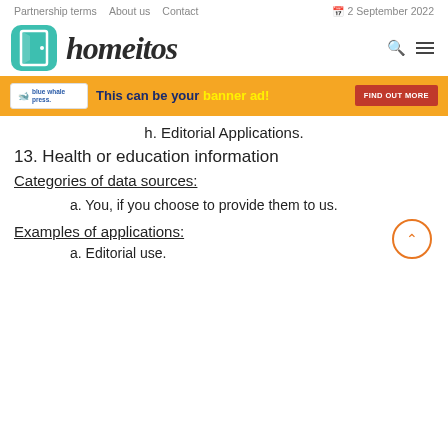Partnership terms   About us   Contact   2 September 2022
[Figure (logo): Homeitos website logo with teal door icon and handwritten brand name]
[Figure (infographic): Yellow banner ad: Blue Whale Press logo, 'This can be your banner ad!' text, FIND OUT MORE button]
h. Editorial Applications.
13. Health or education information
Categories of data sources:
a. You, if you choose to provide them to us.
Examples of applications:
a. Editorial use.